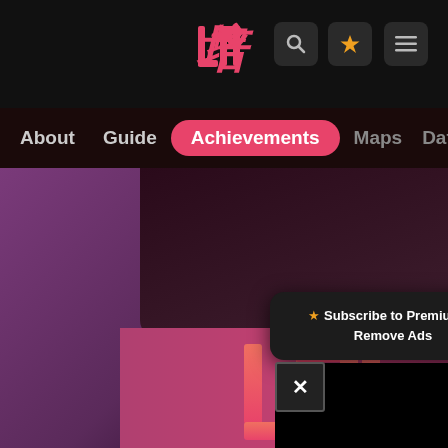[Figure (screenshot): Website screenshot showing a gaming wiki/guide navigation page. Top black header bar with a stylized logo in red/pink. Navigation icons (search, star, menu) in dark grey buttons top right. Navigation bar with items: About, Guide, Achievements (active/highlighted in pink pill), Maps, Database. Background shows purple and pink gradient areas. A tooltip popup reads '★ Subscribe to Premium to Remove Ads'. An ad overlay with close X button is visible in the lower right. A large stylized logo appears in pink at bottom center.]
About  Guide  Achievements  Maps  Database
★ Subscribe to Premium to Remove Ads